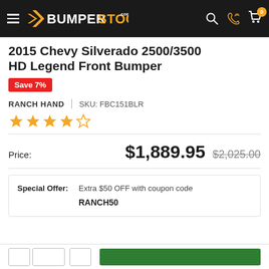BUMPERSTOCK.com
2015 Chevy Silverado 2500/3500 HD Legend Front Bumper
Save 7%
RANCH HAND | SKU: FBC151BLR
4 out of 5 stars rating
Price: $1,889.95  $2,025.00
Special Offer: Extra $50 OFF with coupon code RANCH50